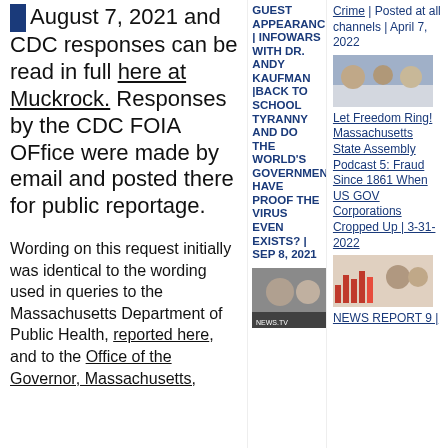August 7, 2021 and CDC responses can be read in full here at Muckrock. Responses by the CDC FOIA OFfice were made by email and posted there for public reportage.
Wording on this request initially was identical to the wording used in queries to the Massachusetts Department of Public Health, reported here, and to the Office of the Governor, Massachusetts,
GUEST APPEARANCES | INFOWARS WITH DR. ANDY KAUFMAN |BACK TO SCHOOL TYRANNY AND DO THE WORLD'S GOVERNMENTS HAVE PROOF THE VIRUS EVEN EXISTS? | SEP 8, 2021
[Figure (photo): Thumbnail image of video, two people visible, NEWS.TV watermark]
Crime | Posted at all channels | April 7, 2022
[Figure (photo): Small thumbnail image with people and a banner]
Let Freedom Ring! Massachusetts State Assembly Podcast 5: Fraud Since 1861 When US GOV Corporations Cropped Up | 3-31-2022
[Figure (photo): Small thumbnail image, bar chart style graphic with people]
NEWS REPORT 9 |